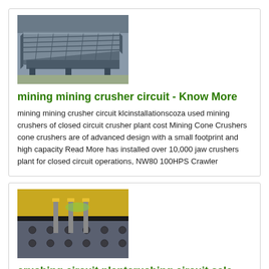[Figure (photo): Industrial mining vibrating screen or conveyor equipment in a factory/warehouse setting, metal frame construction with grating surface]
mining mining crusher circuit - Know More
mining mining crusher circuit klcinstallationscoza used mining crushers of closed circuit crusher plant cost Mining Cone Crushers cone crushers are of advanced design with a small footprint and high capacity Read More has installed over 10,000 jaw crushers plant for closed circuit operations, NW80 100HPS Crawler
[Figure (photo): Industrial crushing equipment jaw crusher or similar heavy machinery with yellow components visible, metal plate with bolt holes]
crushing circuit plantcrushing circuit sale - Know More
Jan 31, 2020 0183 32 20x36 Closed Circuit Jaw Impactor Portable Crushing